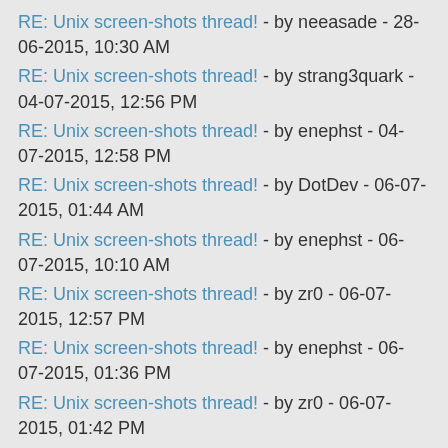RE: Unix screen-shots thread! - by neeasade - 28-06-2015, 10:30 AM
RE: Unix screen-shots thread! - by strang3quark - 04-07-2015, 12:56 PM
RE: Unix screen-shots thread! - by enephst - 04-07-2015, 12:58 PM
RE: Unix screen-shots thread! - by DotDev - 06-07-2015, 01:44 AM
RE: Unix screen-shots thread! - by enephst - 06-07-2015, 10:10 AM
RE: Unix screen-shots thread! - by zr0 - 06-07-2015, 12:57 PM
RE: Unix screen-shots thread! - by enephst - 06-07-2015, 01:36 PM
RE: Unix screen-shots thread! - by zr0 - 06-07-2015, 01:42 PM
RE: Unix screen-shots thread! - by dkeg - 06-07-2015, 11:54 PM
RE: Unix screen-shots thread! - by xero - 07-07-2015, 12:03 AM
RE: Unix screen-shots thread! - by dkeg - 07-07-2015, 07:26 AM
RE: Unix screen-shots thread! - by xero - 07-07-2015, 11:22